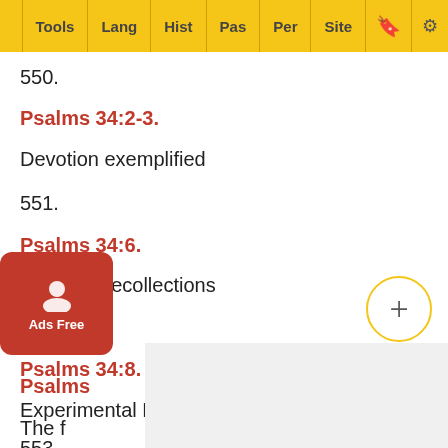Tools | Lang | Hist | Pas | Per | Site
550.
Psalms 34:2-3.
Devotion exemplified
551.
Psalms 34:6.
Grateful Recollections
552.
Psalms 34:8.
Experimental Religion enforced
553.
Psalms
The f...